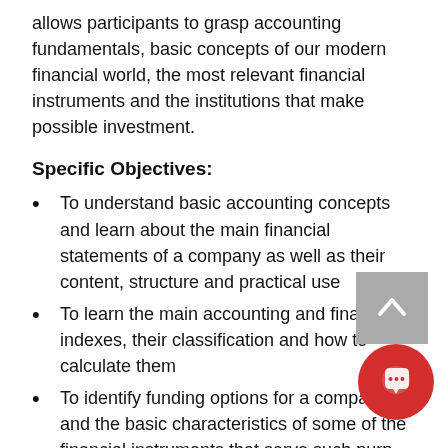allows participants to grasp accounting fundamentals, basic concepts of our modern financial world, the most relevant financial instruments and the institutions that make possible investment.
Specific Objectives:
To understand basic accounting concepts and learn about the main financial statements of a company as well as their content, structure and practical use
To learn the main accounting and finance indexes, their classification and how to calculate them
To identify funding options for a company and the basic characteristics of some of the financial instruments that serve such purp…
To understand the time value of money
To grasp the concept of opportunit…